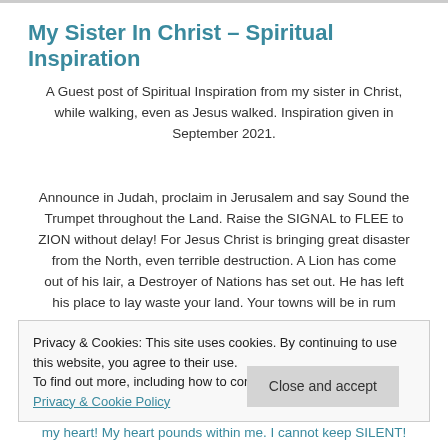My Sister In Christ – Spiritual Inspiration
A Guest post of Spiritual Inspiration from my sister in Christ, while walking, even as Jesus walked. Inspiration given in September 2021.
Announce in Judah, proclaim in Jerusalem and say Sound the Trumpet throughout the Land. Raise the SIGNAL to FLEE to ZION without delay! For Jesus Christ is bringing great disaster from the North, even terrible destruction. A Lion has come out of his lair, a Destroyer of Nations has set out. He has left his place to lay waste your land. Your towns will be in rum
Privacy & Cookies: This site uses cookies. By continuing to use this website, you agree to their use.
To find out more, including how to control cookies, see here: Privacy & Cookie Policy
my heart! My heart pounds within me. I cannot keep SILENT!